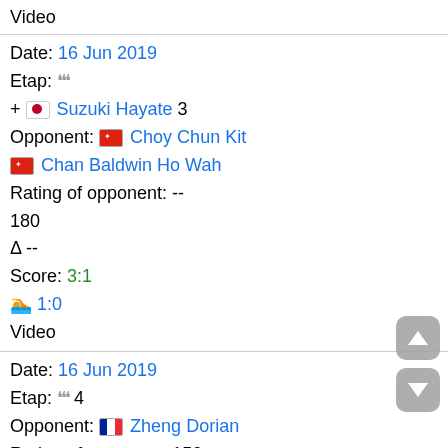Video
Date: 16 Jun 2019
Etap: '''
+ 🇯🇵 Suzuki Hayate 3
Opponent: 🇭🇰 Choy Chun Kit
🇭🇰 Chan Baldwin Ho Wah
Rating of opponent: --
180
Δ --
Score: 3:1
🏊 1:0
Video
Date: 16 Jun 2019
Etap: ''' 4
Opponent: 🇫🇷 Zheng Dorian
Rating of opponent: 150
Δ -560
Score: 1:3